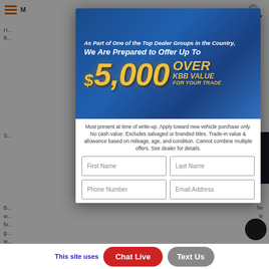[Figure (screenshot): Website popup/modal overlay showing an automotive trade-in promotion offering up to $5,000 over KBB value for trade-in, with disclaimer text and a contact form with First Name, Last Name, Phone Number, Email Address fields. Background shows a partially visible webpage with navigation bar. Bottom bar shows 'This site uses...' text with Chat Live (red) and Text Us (gray) buttons.]